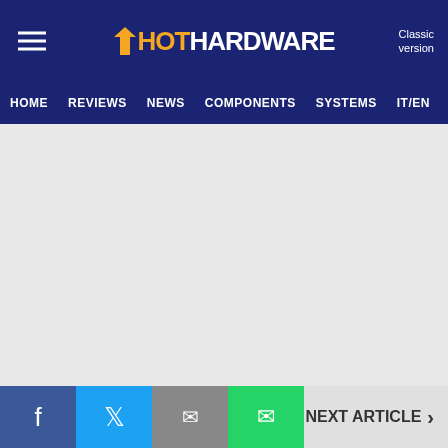HotHardware — Classic version | HOME | REVIEWS | NEWS | COMPONENTS | SYSTEMS | IT/EN
[Figure (other): Gray advertisement placeholder area]
If you're new to PC gaming, first and foremost welcome to the fold. Also, congratulations on seeing the light and kicking that dirty little console to the curb where it belongs (we kid...maybe?). Now that you're one of us, here's a heads up that Steam will continually pry funds
Facebook | Twitter | Email | WhatsApp | NEXT ARTICLE >